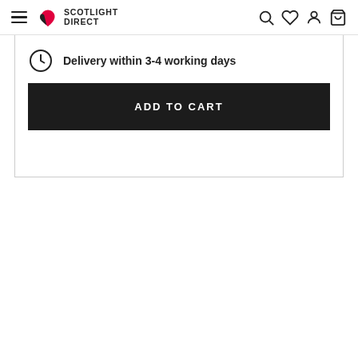Scotlight Direct
Delivery within 3-4 working days
ADD TO CART